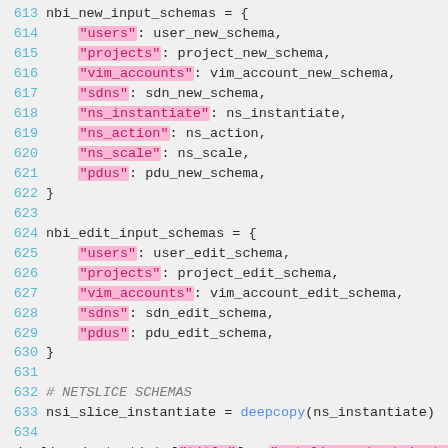[Figure (screenshot): Source code listing showing Python dictionary definitions for nbi_new_input_schemas and nbi_edit_input_schemas, and netslice schema assignments. Line numbers 613-635 are shown with syntax highlighting: string keys highlighted in pink/magenta, function name 'deepcopy' in blue.]